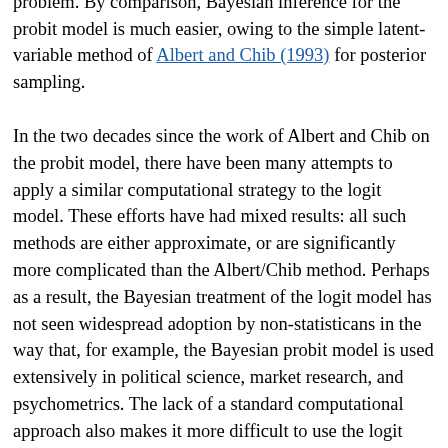regression model has long been recognized as a hard problem. By comparison, Bayesian inference for the probit model is much easier, owing to the simple latent-variable method of Albert and Chib (1993) for posterior sampling.
In the two decades since the work of Albert and Chib on the probit model, there have been many attempts to apply a similar computational strategy to the logit model. These efforts have had mixed results: all such methods are either approximate, or are significantly more complicated than the Albert/Chib method. Perhaps as a result, the Bayesian treatment of the logit model has not seen widespread adoption by non-statisticans in the way that, for example, the Bayesian probit model is used extensively in political science, market research, and psychometrics. The lack of a standard computational approach also makes it more difficult to use the logit link in the kind of rich hierarchical models that have become routine